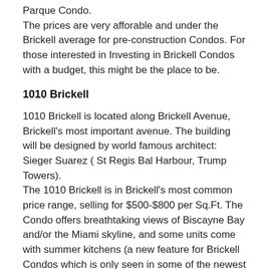Parque Condo.
The prices are very afforable and under the Brickell average for pre-construction Condos. For those interested in Investing in Brickell Condos with a budget, this might be the place to be.
1010 Brickell
1010 Brickell is located along Brickell Avenue, Brickell's most important avenue. The building will be designed by world famous architect: Sieger Suarez ( St Regis Bal Harbour, Trump Towers).
The 1010 Brickell is in Brickell's most common price range, selling for $500-$800 per Sq.Ft. The Condo offers breathtaking views of Biscayne Bay and/or the Miami skyline, and some units come with summer kitchens (a new feature for Brickell Condos which is only seen in some of the newest condos). What sets